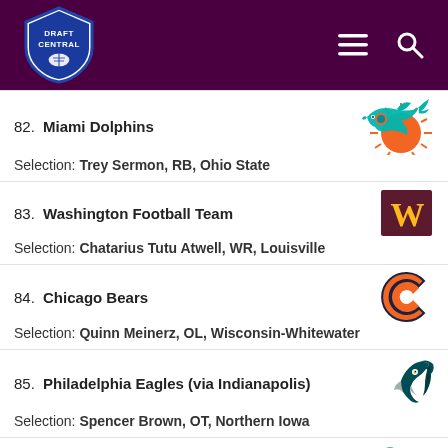Draft Central
82. Miami Dolphins — Selection: Trey Sermon, RB, Ohio State
83. Washington Football Team — Selection: Chatarius Tutu Atwell, WR, Louisville
84. Chicago Bears — Selection: Quinn Meinerz, OL, Wisconsin-Whitewater
85. Philadelphia Eagles (via Indianapolis) — Selection: Spencer Brown, OT, Northern Iowa
86. Tennessee Titans — Selection: Ifeatu Melinfonwu, CB, Syracuse